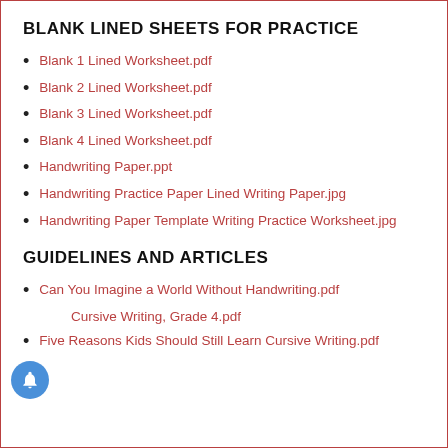BLANK LINED SHEETS FOR PRACTICE
Blank 1 Lined Worksheet.pdf
Blank 2 Lined Worksheet.pdf
Blank 3 Lined Worksheet.pdf
Blank 4 Lined Worksheet.pdf
Handwriting Paper.ppt
Handwriting Practice Paper Lined Writing Paper.jpg
Handwriting Paper Template Writing Practice Worksheet.jpg
GUIDELINES AND ARTICLES
Can You Imagine a World Without Handwriting.pdf
Cursive Writing, Grade 4.pdf
Five Reasons Kids Should Still Learn Cursive Writing.pdf